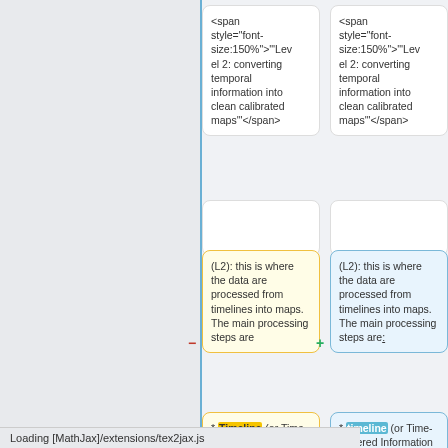[Figure (other): Diff comparison view showing two columns of content cards. Left column shows white/yellow cards with code and text; right column shows white/blue cards with the same code and text. A blue vertical line separates left gray panel from the main content. Top row: two white cards with HTML code. Middle row: two empty white cards. Third row: yellow card (left, with minus marker) and blue card (right, with plus marker) both showing '(L2): this is where the data are processed from timelines into maps. The main processing steps are'. Bottom row: yellow card and blue card with '* Timeline (or Time-Ordered Information = TOI) processing.']
Loading [MathJax]/extensions/tex2jax.js